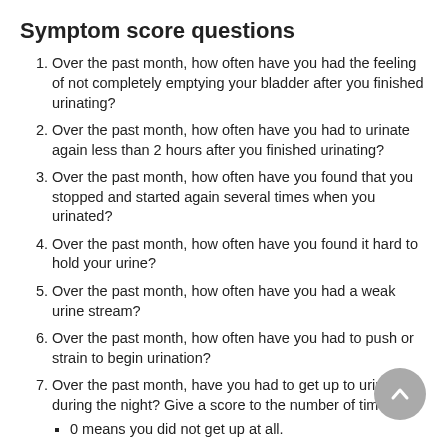Symptom score questions
Over the past month, how often have you had the feeling of not completely emptying your bladder after you finished urinating?
Over the past month, how often have you had to urinate again less than 2 hours after you finished urinating?
Over the past month, how often have you found that you stopped and started again several times when you urinated?
Over the past month, how often have you found it hard to hold your urine?
Over the past month, how often have you had a weak urine stream?
Over the past month, how often have you had to push or strain to begin urination?
Over the past month, have you had to get up to urinate during the night? Give a score to the number of times.
0 means you did not get up at all.
1 means you got up 1 time.
2 means you got up 2 times.